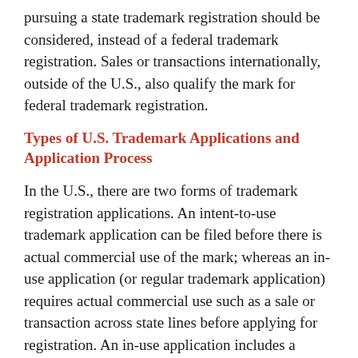pursuing a state trademark registration should be considered, instead of a federal trademark registration. Sales or transactions internationally, outside of the U.S., also qualify the mark for federal trademark registration.
Types of U.S. Trademark Applications and Application Process
In the U.S., there are two forms of trademark registration applications. An intent-to-use trademark application can be filed before there is actual commercial use of the mark; whereas an in-use application (or regular trademark application) requires actual commercial use such as a sale or transaction across state lines before applying for registration. An in-use application includes a description of the trademark, a description of the goods or services associated with the mark for which registration and rights are sought, and